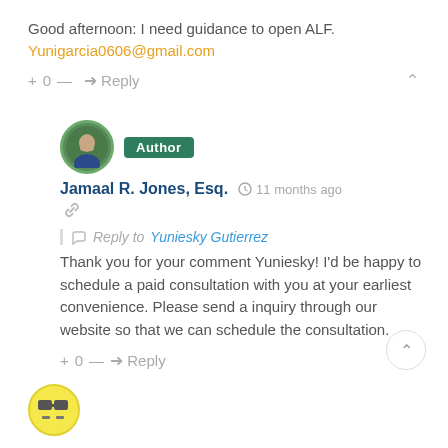Good afternoon: I need guidance to open ALF. Yunigarcia0606@gmail.com
+ 0 — Reply ^
[Figure (photo): Author avatar photo of Jamaal R. Jones, Esq., circular profile picture with green border]
Author
Jamaal R. Jones, Esq. 11 months ago
Reply to Yuniesky Gutierrez
Thank you for your comment Yuniesky! I'd be happy to schedule a paid consultation with you at your earliest convenience. Please send a inquiry through our website so that we can schedule the consultation.
+ 0 — Reply
[Figure (photo): Small avatar icon with glasses emoji on yellow background]